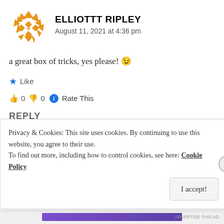[Figure (logo): Orange geometric avatar made of triangles and diamond shapes arranged in a circular/star pattern — Gravatar-style identicon for user Elliottt Ripley]
ELLIOTTT RIPLEY
August 11, 2021 at 4:36 pm
a great box of tricks, yes please! 😉
★ Like
👍 0 👎 0 ℹ Rate This
REPLY
[Figure (photo): Small thumbnail avatar for next commenter ART TEACHER MGB]
ART TEACHER MGB
Privacy & Cookies: This site uses cookies. By continuing to use this website, you agree to their use.
To find out more, including how to control cookies, see here: Cookie Policy
I accept!